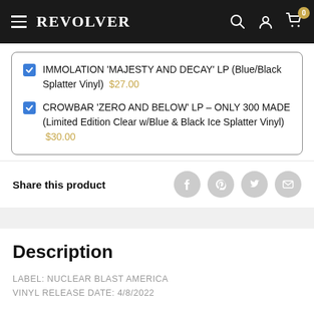REVOLVER
IMMOLATION 'MAJESTY AND DECAY' LP (Blue/Black Splatter Vinyl) $27.00
CROWBAR 'ZERO AND BELOW' LP – ONLY 300 MADE (Limited Edition Clear w/Blue & Black Ice Splatter Vinyl) $30.00
Share this product
Description
LABEL: NUCLEAR BLAST AMERICA
VINYL RELEASE DATE: 4/8/2022